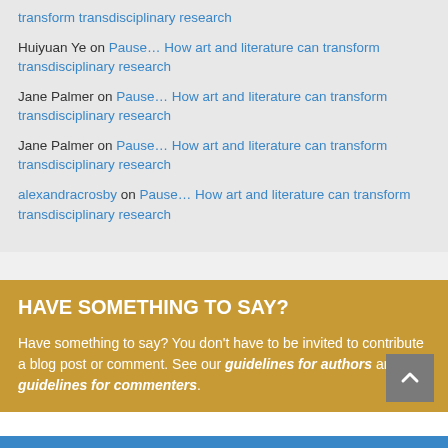transform transdisciplinary research
Huiyuan Ye on Pause… How art and literature can transform transdisciplinary research
Jane Palmer on Pause… How art and literature can transform transdisciplinary research
Jane Palmer on Pause… How art and literature can transform transdisciplinary research
alexandracrosby on Pause… How art and literature can transform transdisciplinary research
HAVE SOMETHING TO SAY?
Have something to say? You don't have to be invited to contribute a blog post or comment. See our guidelines for authors and guidelines for commenters.